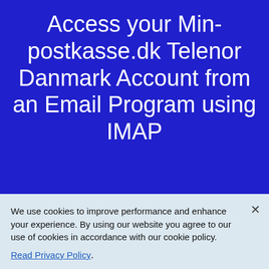Access your Min-postkasse.dk Telenor Danmark Account from an Email Program using IMAP
Min-postkasse.dk Telenor Danmark provides IMAP access to your Min-
We use cookies to improve performance and enhance your experience. By using our website you agree to our use of cookies in accordance with our cookie policy.
Read Privacy Policy.